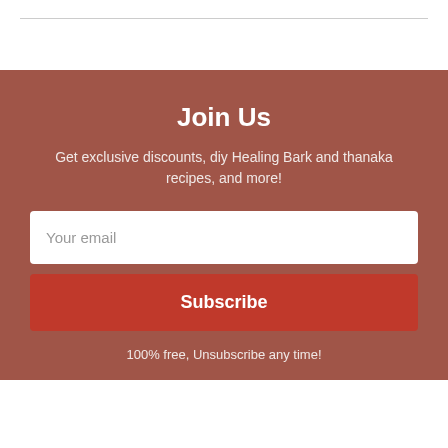Join Us
Get exclusive discounts, diy Healing Bark and thanaka recipes, and more!
Your email
Subscribe
100% free, Unsubscribe any time!